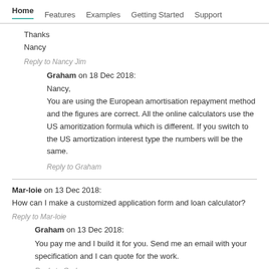Home  Features  Examples  Getting Started  Support
Thanks
Nancy
Reply to Nancy Jim
Graham on 18 Dec 2018:
Nancy,
You are using the European amortisation repayment method and the figures are correct. All the online calculators use the US amoritization formula which is different. If you switch to the US amortization interest type the numbers will be the same.
Reply to Graham
Mar-loie on 13 Dec 2018:
How can I make a customized application form and loan calculator?
Reply to Mar-loie
Graham on 13 Dec 2018:
You pay me and I build it for you. Send me an email with your specification and I can quote for the work.
Reply to Graham